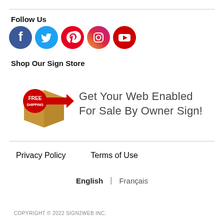Follow Us
[Figure (illustration): Five social media icons in colored circles: Facebook (blue), Twitter (light blue), Pinterest (red), Instagram (gradient purple/orange/yellow), YouTube (red)]
Shop Our Sign Store
[Figure (illustration): A cardboard shipping box with a red FREE SHIPPING badge and arrow, next to text: Get Your Web Enabled For Sale By Owner Sign!]
Privacy Policy    Terms of Use
English | Français
COPYRIGHT © 2022 SIGN2WEB INC.